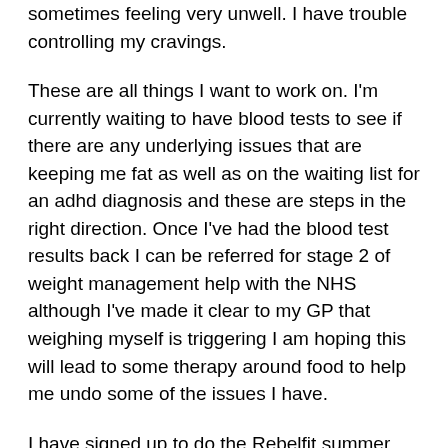sometimes feeling very unwell. I have trouble controlling my cravings.
These are all things I want to work on. I'm currently waiting to have blood tests to see if there are any underlying issues that are keeping me fat as well as on the waiting list for an adhd diagnosis and these are steps in the right direction. Once I've had the blood test results back I can be referred for stage 2 of weight management help with the NHS although I've made it clear to my GP that weighing myself is triggering I am hoping this will lead to some therapy around food to help me undo some of the issues I have.
I have signed up to do the Rebelfit summer camp and I am going to try and process the Nutrition information as best as I can to help me understand emotional eating, combating it and trying to build healthy food habits. I want to improve my relationship with food but I want to do this with a neurodivergent frame of mind. Something I've never considered before. How do I make repairing my